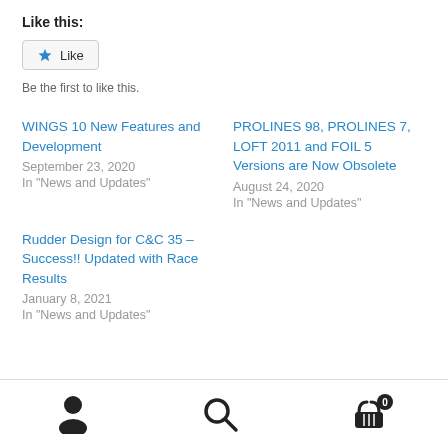Like this:
Like
Be the first to like this.
WINGS 10 New Features and Development
September 23, 2020
In "News and Updates"
PROLINES 98, PROLINES 7, LOFT 2011 and FOIL 5 Versions are Now Obsolete
August 24, 2020
In "News and Updates"
Rudder Design for C&C 35 – Success!! Updated with Race Results
January 8, 2021
In "News and Updates"
User icon | Search icon | Cart icon with 0